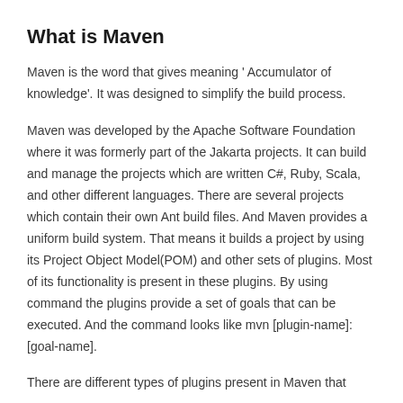What is Maven
Maven is the word that gives meaning ' Accumulator of knowledge'. It was designed to simplify the build process.
Maven was developed by the Apache Software Foundation where it was formerly part of the Jakarta projects. It can build and manage the projects which are written C#, Ruby, Scala, and other different languages. There are several projects which contain their own Ant build files. And Maven provides a uniform build system. That means it builds a project by using its Project Object Model(POM) and other sets of plugins. Most of its functionality is present in these plugins. By using command the plugins provide a set of goals that can be executed. And the command looks like mvn [plugin-name]:[goal-name].
There are different types of plugins present in Maven that